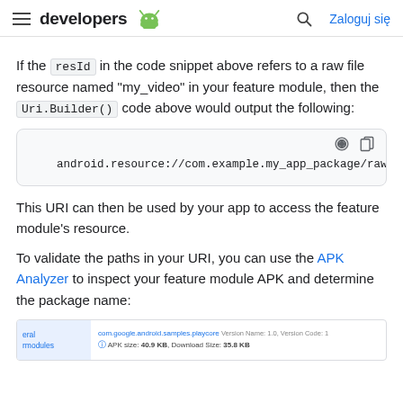developers [Android logo] [Search] Zaloguj się
If the resId in the code snippet above refers to a raw file resource named "my_video" in your feature module, then the Uri.Builder() code above would output the following:
[Figure (screenshot): Code block showing: android.resource://com.example.my_app_package/raw]
This URI can then be used by your app to access the feature module's resource.
To validate the paths in your URI, you can use the APK Analyzer to inspect your feature module APK and determine the package name:
[Figure (screenshot): APK Analyzer screenshot showing: com.google.android.samples.playcore (Version Name: 1.0, Version Code: 1), APK size: 40.9 KB, Download Size: 35.8 KB, with sidebar showing eral and rmodules entries]